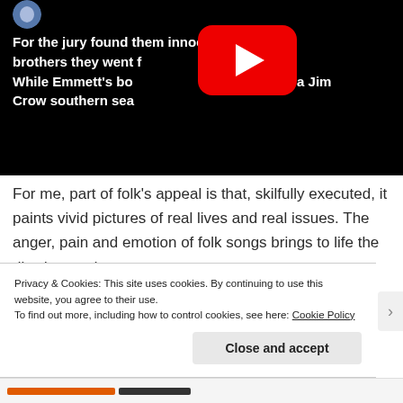[Figure (screenshot): YouTube video embed showing lyrics: 'For the jury found them innocent and the brothers they went f[ree] / While Emmett's bo[dy floated on t]he foam of a Jim Crow southern sea' with YouTube play button overlay and partial avatar in top left corner.]
For me, part of folk's appeal is that, skilfully executed, it paints vivid pictures of real lives and real issues. The anger, pain and emotion of folk songs brings to life the dirt-dry words of…
Privacy & Cookies: This site uses cookies. By continuing to use this website, you agree to their use.
To find out more, including how to control cookies, see here: Cookie Policy
Close and accept